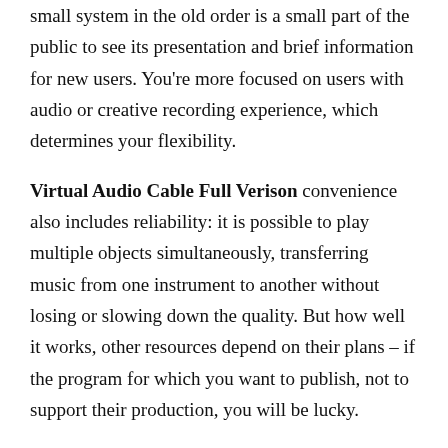small system in the old order is a small part of the public to see its presentation and brief information for new users. You're more focused on users with audio or creative recording experience, which determines your flexibility.
Virtual Audio Cable Full Verison convenience also includes reliability: it is possible to play multiple objects simultaneously, transferring music from one instrument to another without losing or slowing down the quality. But how well it works, other resources depend on their plans – if the program for which you want to publish, not to support their production, you will be lucky.
Virtual Audio Cable For MAC & Windows You can use USB cable functions in full using many ways. When